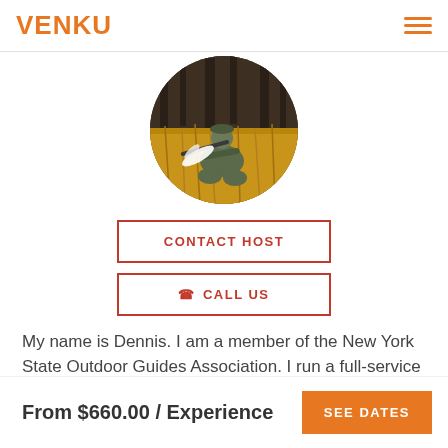VENKU
[Figure (photo): Circular cropped photo of a hunter in camouflage clothing crouching in tall golden grass, holding hunting equipment, with trees in the background.]
CONTACT HOST
CALL US
My name is Dennis. I am a member of the New York State Outdoor Guides Association. I run a full-service guiding outfit. We hunt and fish for all species in season. My rates
From $660.00 / Experience
SEE DATES